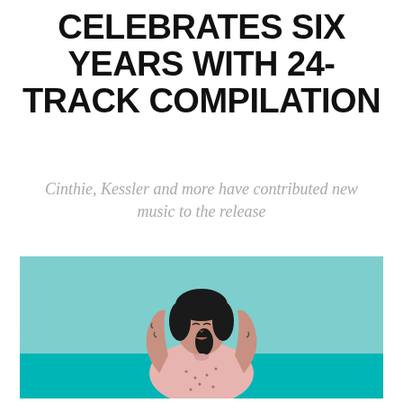CELEBRATES SIX YEARS WITH 24-TRACK COMPILATION
Cinthie, Kessler and more have contributed new music to the release
[Figure (photo): A woman with dark hair wearing a pink patterned top, hands raised behind her head, standing in front of a light blue/turquoise background wall.]